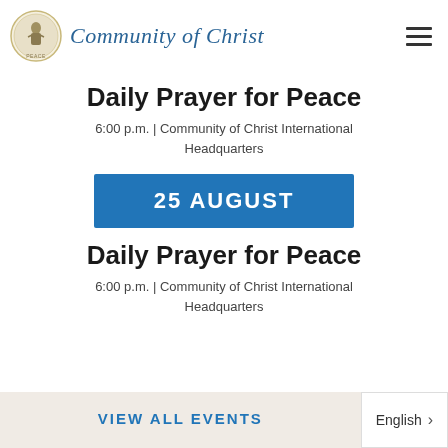Community of Christ
Daily Prayer for Peace
6:00 p.m.  |  Community of Christ International Headquarters
25 AUGUST
Daily Prayer for Peace
6:00 p.m.  |  Community of Christ International Headquarters
VIEW ALL EVENTS
English